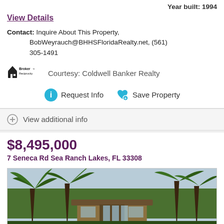Year built: 1994
View Details
Contact: Inquire About This Property, BobWeyrauch@BHHSFloridaRealty.net, (561) 305-1491
[Figure (logo): Broker Reciprocity logo with house icon]
Courtesy: Coldwell Banker Realty
Request Info
Save Property
View additional info
$8,495,000
7 Seneca Rd Sea Ranch Lakes, FL 33308
[Figure (photo): Exterior photo of luxury home at 7 Seneca Rd Sea Ranch Lakes with palm trees and modern architecture]